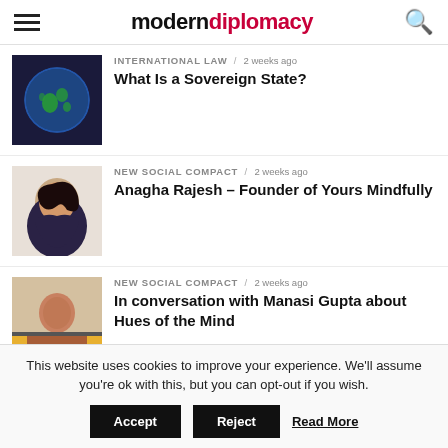moderndiplomacy
INTERNATIONAL LAW / 2 weeks ago — What Is a Sovereign State?
NEW SOCIAL COMPACT / 2 weeks ago — Anagha Rajesh – Founder of Yours Mindfully
NEW SOCIAL COMPACT / 2 weeks ago — In conversation with Manasi Gupta about Hues of the Mind
RELIGION / 2 weeks ago — Wither India's secularism?
This website uses cookies to improve your experience. We'll assume you're ok with this, but you can opt-out if you wish.
Accept | Reject | Read More